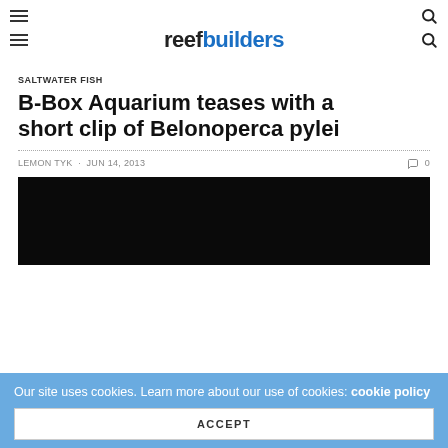reef builders
SALTWATER FISH
B-Box Aquarium teases with a short clip of Belonoperca pylei
LEMON TYK - JUN 14, 2013   0
[Figure (photo): Dark/black image, likely a video thumbnail of Belonoperca pylei fish]
Our site uses cookies. Learn more about our use of cookies: cookie policy
ACCEPT